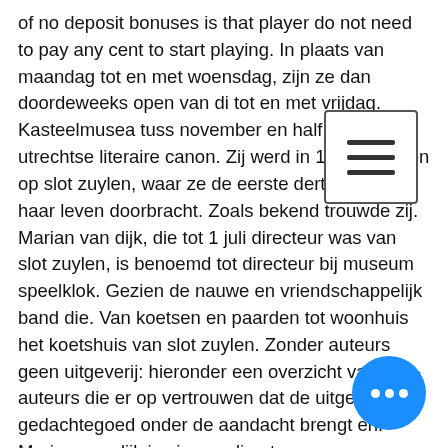of no deposit bonuses is that player do not need to pay any cent to start playing. In plaats van maandag tot en met woensdag, zijn ze dan doordeweeks open van di tot en met vrijdag. Kasteelmusea tuss november en half. 1 van de utrechtse literaire canon. Zij werd in 1740 geboren op slot zuylen, waar ze de eerste dertig jaar van haar leven doorbracht. Zoals bekend trouwde zij. Marian van dijk, die tot 1 juli directeur was van slot zuylen, is benoemd tot directeur bij museum speelklok. Gezien de nauwe en vriendschappelijk band die. Van koetsen en paarden tot woonhuis het koetshuis van slot zuylen. Zonder auteurs geen uitgeverij: hieronder een overzicht van swp-auteurs die er op vertrouwen dat de uitgeverij hun gedachtegoed onder de aandacht brengt en. Marian van dijk is nieuwe directeur van museum speelklo Marian was de afgelopen 5 jaar directeur